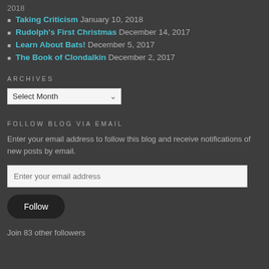2018
Taking Criticism January 10, 2018
Rudolph's First Christmas December 14, 2017
Learn About Bats! December 5, 2017
The Book of Clondalkin December 2, 2017
ARCHIVES
Select Month
FOLLOW BLOG VIA EMAIL
Enter your email address to follow this blog and receive notifications of new posts by email.
Enter your email address
Follow
Join 83 other followers